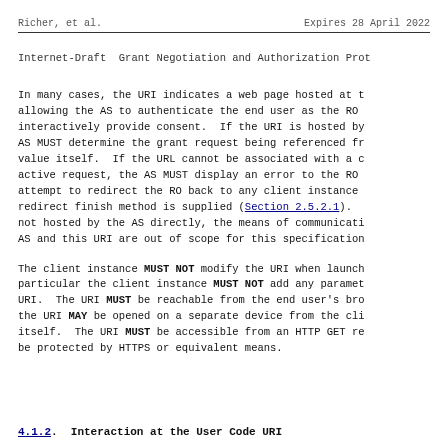Richer, et al.                    Expires 28 April 2022
Internet-Draft   Grant Negotiation and Authorization Prot
In many cases, the URI indicates a web page hosted at t allowing the AS to authenticate the end user as the RO interactively provide consent.  If the URI is hosted by AS MUST determine the grant request being referenced fr value itself.  If the URL cannot be associated with a c active request, the AS MUST display an error to the RO attempt to redirect the RO back to any client instance redirect finish method is supplied (Section 2.5.2.1). not hosted by the AS directly, the means of communicati AS and this URI are out of scope for this specification
The client instance MUST NOT modify the URI when launch particular the client instance MUST NOT add any paramet URI.  The URI MUST be reachable from the end user's bro the URI MAY be opened on a separate device from the cli itself.  The URI MUST be accessible from an HTTP GET re be protected by HTTPS or equivalent means.
4.1.2.  Interaction at the User Code URI